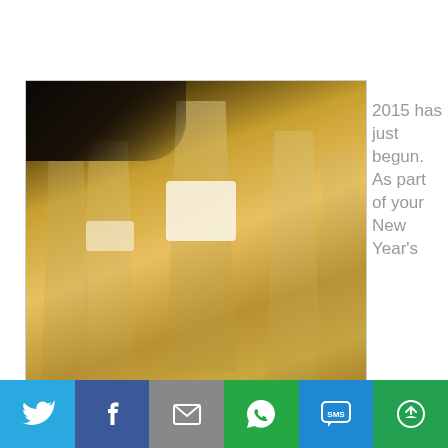[Figure (photo): Champagne flutes filled with bubbly champagne, with foam/bubbles visible, warm golden-toned photograph showing multiple glasses]
2015 has just begun. As part of your New Year's
[Figure (infographic): Social sharing bar with six buttons: Twitter (blue bird icon), Facebook (blue F icon), Email (gray envelope icon), WhatsApp (green phone icon), SMS (blue SMS bubble icon), More (green circle arrow icon)]